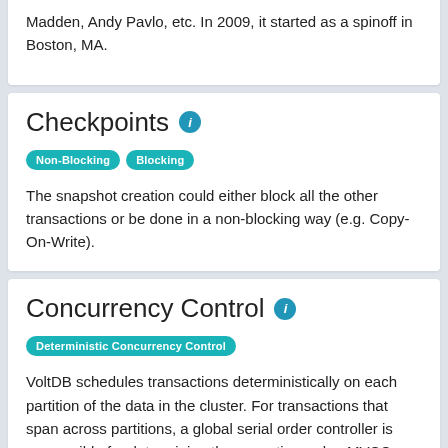Madden, Andy Pavlo, etc. In 2009, it started as a spinoff in Boston, MA.
Checkpoints
Non-Blocking
Blocking
The snapshot creation could either block all the other transactions or be done in a non-blocking way (e.g. Copy-On-Write).
Concurrency Control
Deterministic Concurrency Control
VoltDB schedules transactions deterministically on each partition of the data in the cluster. For transactions that span across partitions, a global serial order controller is responsible for determining the execution order. MVCC